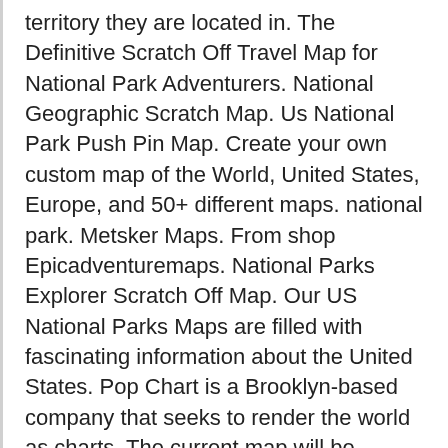territory they are located in. The Definitive Scratch Off Travel Map for National Park Adventurers. National Geographic Scratch Map. Us National Park Push Pin Map. Create your own custom map of the World, United States, Europe, and 50+ different maps. national park. Metsker Maps. From shop Epicadventuremaps. National Parks Explorer Scratch Off Map. Our US National Parks Maps are filled with fascinating information about the United States. Pop Chart is a Brooklyn-based company that seeks to render the world as charts. The current map will be cleared of all data. Zion National Park Usa Map 15.jpg. Skip to content. Newverest Major League Ballpark Scratch-Off Poster, Baseball Stadium Wall Decor Map, Pop Chart Fits 17 x 24 inches Frames - Includes Scratch Tool, 31 Fun Cards, Gift Ready for ... Ho-ho-houseplants, ho-ho-horror, and ho-ho-... attention ho-ho-! Our was a Pop Chart Lab